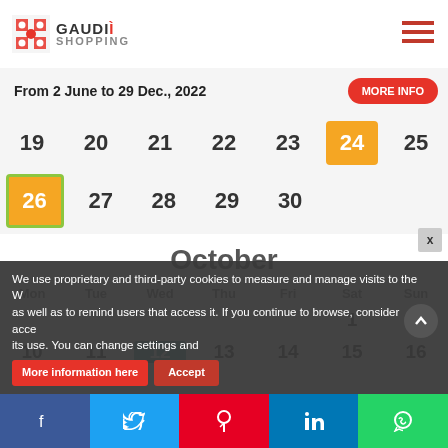GAUDI SHOPPING
From 2 June to 29 Dec., 2022
[Figure (other): Calendar showing end of previous month with dates 19-30, with 24 highlighted in orange and 26 highlighted in orange with green border]
October
| Mon | Tue | Wed | Thu | Fri | Sat | Sun |
| --- | --- | --- | --- | --- | --- | --- |
|  |  |  |  |  | 1 | 2 |
| 3 | 4 | 5 | 6 | 7 | 8 | 9 |
| 10 | 11 | 12 | 13 | 14 | 15 | 16 |
We use proprietary and third-party cookies to measure and manage visits to the Web, as well as to remind users that access it. If you continue to browse, consider accepting its use. You can change settings and
More information here
Accept